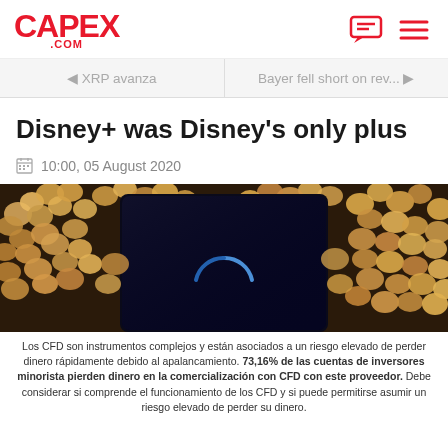CAPEX .COM
◄ XRP avanza   Bayer fell short on rev... ►
Disney+ was Disney's only plus
10:00, 05 August 2020
[Figure (photo): A smartphone surrounded by popcorn, with a blue streaming service loading screen visible on the device.]
Los CFD son instrumentos complejos y están asociados a un riesgo elevado de perder dinero rápidamente debido al apalancamiento. 73,16% de las cuentas de inversores minorista pierden dinero en la comercialización con CFD con este proveedor. Debe considerar si comprende el funcionamiento de los CFD y si puede permitirse asumir un riesgo elevado de perder su dinero.